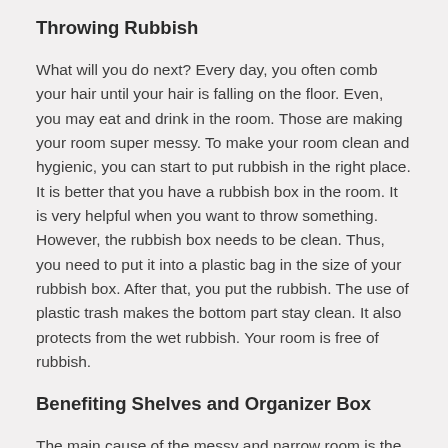Throwing Rubbish
What will you do next? Every day, you often comb your hair until your hair is falling on the floor. Even, you may eat and drink in the room. Those are making your room super messy. To make your room clean and hygienic, you can start to put rubbish in the right place. It is better that you have a rubbish box in the room. It is very helpful when you want to throw something. However, the rubbish box needs to be clean. Thus, you need to put it into a plastic bag in the size of your rubbish box. After that, you put the rubbish. The use of plastic trash makes the bottom part stay clean. It also protects from the wet rubbish. Your room is free of rubbish.
Benefiting Shelves and Organizer Box
The main cause of the messy and narrow room is the habit of saving useless items and objects. Do you know it? The people always saving useless items have no obstacles like hoarding disorder. You